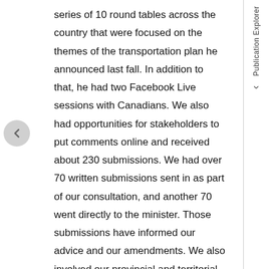series of 10 round tables across the country that were focused on the themes of the transportation plan he announced last fall. In addition to that, he had two Facebook Live sessions with Canadians. We also had opportunities for stakeholders to put comments online and received about 230 submissions. We had over 70 written submissions sent in as part of our consultation, and another 70 went directly to the minister. Those submissions have informed our advice and our amendments. We also involved our provincial and territorial colleagues in that process.
Since then, we have continued to work exhaustively with the railways and the rail sector—shippers that use the railways, and other players in the rail sector—to make sure we understand their concerns and that in putting forward
Publication Explorer